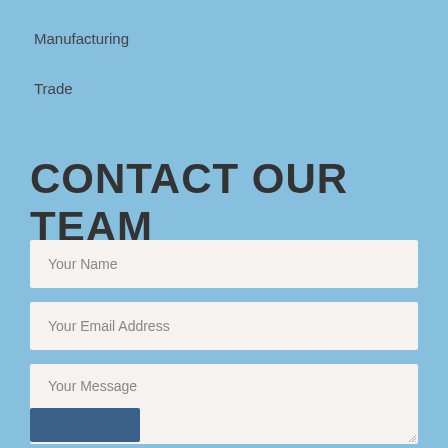Manufacturing
Trade
CONTACT OUR TEAM
Your Name
Your Email Address
Your Message